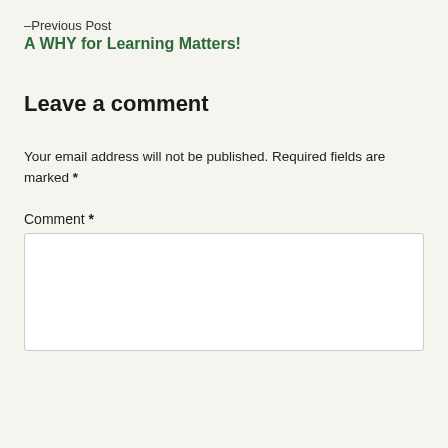–Previous Post
A WHY for Learning Matters!
Leave a comment
Your email address will not be published. Required fields are marked *
Comment *